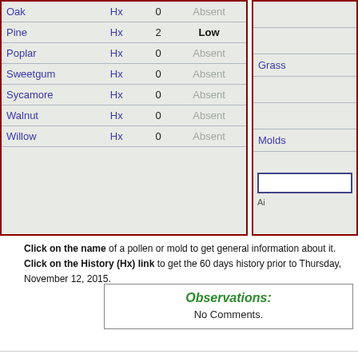| Name | Hx | Count | Level |
| --- | --- | --- | --- |
| Oak | Hx | 0 | Absent |
| Pine | Hx | 2 | Low |
| Poplar | Hx | 0 | Absent |
| Sweetgum | Hx | 0 | Absent |
| Sycamore | Hx | 0 | Absent |
| Walnut | Hx | 0 | Absent |
| Willow | Hx | 0 | Absent |
Grass
Molds
Click on the name of a pollen or mold to get general information about it.
Click on the History (Hx) link to get the 60 days history prior to Thursday, November 12, 2015.
Observations:
No Comments.